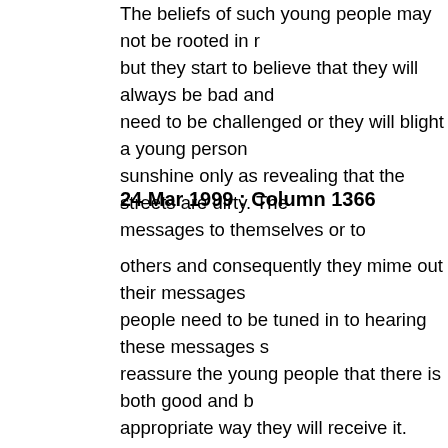The beliefs of such young people may not be rooted in reality but they start to believe that they will always be bad and need to be challenged or they will blight a young person's sunshine only as revealing that the streets are dirty. The messages to themselves or to
24 Mar 1999 : Column 1366
others and consequently they mime out their messages people need to be tuned in to hearing these messages so reassure the young people that there is both good and bad appropriate way they will receive it. They need ears to hear relationships to build up trust and to enable the young people experience if young people experience good treatment, they take on board rules and instructions and will behave better. Challenging, interesting and varied activities are important. Learning to read, to write and to count are good for the soul their job prospects later.
Finally, let us consider what these young people need. That mentioned. That leads to immaturity in these young people inside. They may perform acts that many adult criminals childish. Although there are many alarming aspects to the of staff have not had previous experience of working with disproportionate force to control the young people; that this prevented; and that so many of them come from the normal separated from their families and their home areas, to work